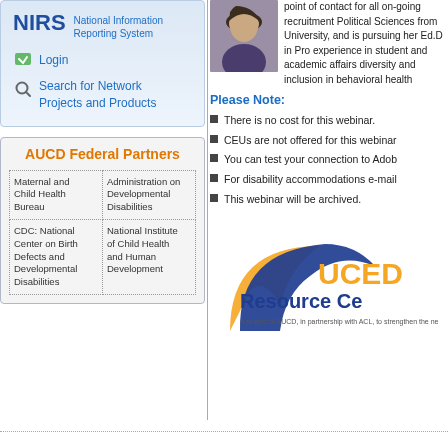[Figure (logo): NIRS National Information Reporting System logo with Login and Search for Network Projects and Products links]
[Figure (logo): AUCD Federal Partners box with four partners: Maternal and Child Health Bureau, Administration on Developmental Disabilities, CDC: National Center on Birth Defects and Developmental Disabilities, National Institute of Child Health and Human Development]
[Figure (photo): Headshot photo of a woman with dark hair]
point of contact for all on-going recruitment Political Sciences from University, and is pursuing her Ed.D in Pro experience in student and academic affairs diversity and inclusion in behavioral health
Please Note:
There is no cost for this webinar.
CEUs are not offered for this webinar
You can test your connection to Adob
For disability accommodations e-mail
This webinar will be archived.
[Figure (logo): UCEDD Resource Center logo - A project of AUCD, in partnership with ACL, to strengthen the ne...]